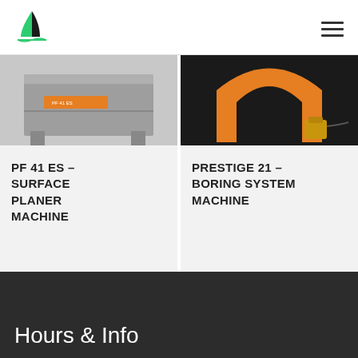[Figure (logo): Green and black sailboat logo]
[Figure (photo): PF 41 ES gray surface planer machine]
PF 41 ES – SURFACE PLANER MACHINE
[Figure (photo): Prestige 21 boring system machine with black frame and orange parts]
PRESTIGE 21 – BORING SYSTEM MACHINE
Hours & Info